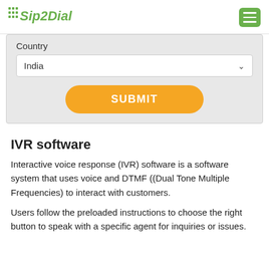Sip2Dial
Country
India
[Figure (screenshot): Orange SUBMIT button with rounded corners]
IVR software
Interactive voice response (IVR) software is a software system that uses voice and DTMF ((Dual Tone Multiple Frequencies) to interact with customers.
Users follow the preloaded instructions to choose the right button to speak with a specific agent for inquiries or issues.